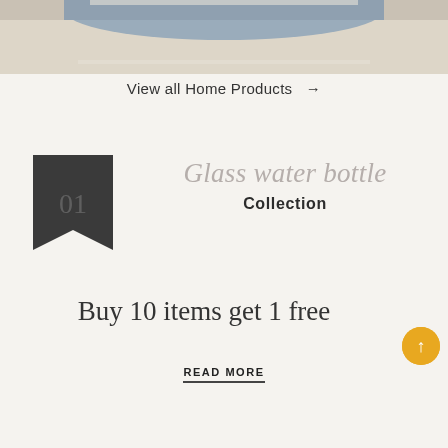[Figure (photo): Top portion of a lifestyle product photo showing a person on a cream/beige couch]
View all Home Products →
[Figure (illustration): Dark charcoal badge/bookmark shape with number 01 in light gray]
Glass water bottle Collection
Buy 10 items get 1 free
READ MORE